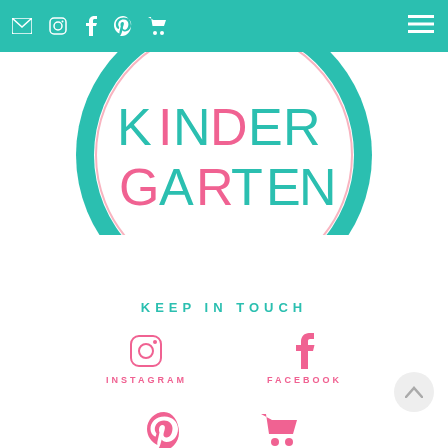Navigation bar with social icons and hamburger menu
[Figure (logo): Kindergarten circular logo with teal ring border, pink inner ring, text KINDER in mixed teal/pink letters and GARTEN in teal letters]
KEEP IN TOUCH
[Figure (infographic): Instagram icon (outline camera) with label INSTAGRAM in pink, Facebook icon (f) with label FACEBOOK in pink]
[Figure (infographic): Pinterest icon (P) and shopping cart icon partially visible at bottom]